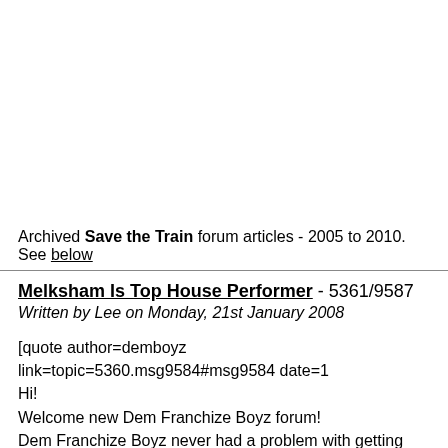Archived Save the Train forum articles - 2005 to 2010. See below
Melksham Is Top House Performer - 5361/9587
Written by Lee on Monday, 21st January 2008
[quote author=demboyz link=topic=5360.msg9584#msg9584 date=1
Hi!
Welcome new Dem Franchize Boyz forum!
Dem Franchize Boyz never had a problem with getting their hands d...
underground albums, mix-tapes and fliers hand-to-hand until they ha...
had truly earned the right to count themselves among the ATL's dope...
their own stylized version of crunk music through hits like their brea...
"White Tees." Franchize has emerged by way of popular demand to...